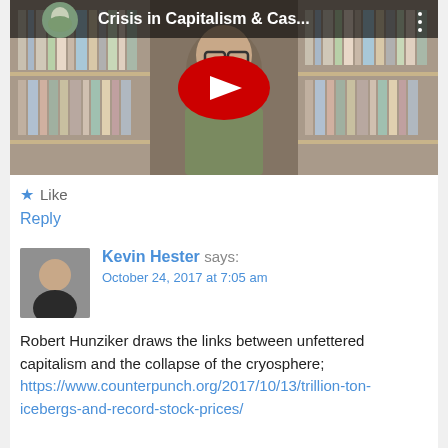[Figure (screenshot): YouTube video thumbnail showing a man with glasses sitting in front of bookshelves, with red YouTube play button overlay, title 'Crisis in Capitalism & Cas...' visible at top with a small circular avatar]
★ Like
Reply
[Figure (photo): Avatar photo of Kevin Hester, a middle-aged man with short hair, wearing a dark shirt]
Kevin Hester says:
October 24, 2017 at 7:05 am
Robert Hunziker draws the links between unfettered capitalism and the collapse of the cryosphere; https://www.counterpunch.org/2017/10/13/trillion-ton-icebergs-and-record-stock-prices/